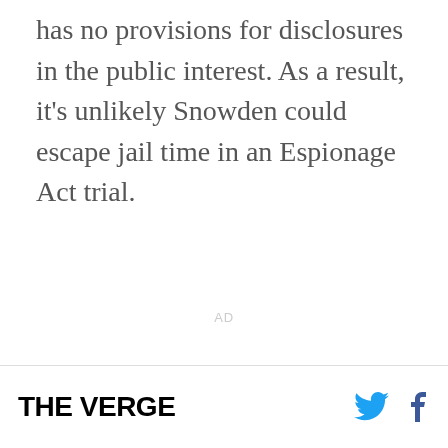has no provisions for disclosures in the public interest. As a result, it's unlikely Snowden could escape jail time in an Espionage Act trial.
AD
THE VERGE